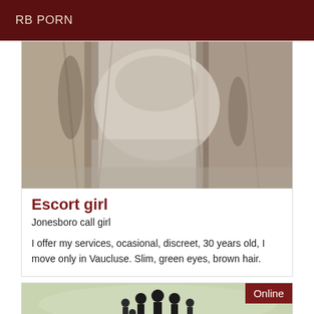RB PORN
[Figure (photo): Blurry close-up photo with muted beige, grey, and brown tones suggesting fabric or stone texture.]
Escort girl
Jonesboro call girl
I offer my services, ocasional, discreet, 30 years old, I move only in Vaucluse. Slim, green eyes, brown hair.
[Figure (illustration): Illustration showing family figures (adults and children) in silhouette style on a light background, with an 'Online' badge in the top-right corner.]